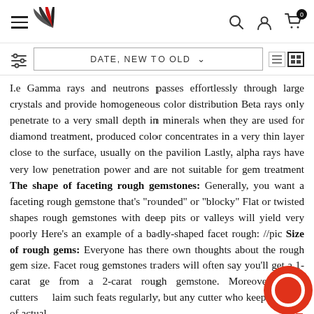Navigation bar with hamburger menu, logo, search, account, and cart icons
DATE, NEW TO OLD
I.e Gamma rays and neutrons passes effortlessly through large crystals and provide homogeneous color distribution Beta rays only penetrate to a very small depth in minerals when they are used for diamond treatment, produced color concentrates in a very thin layer close to the surface, usually on the pavilion Lastly, alpha rays have very low penetration power and are not suitable for gem treatment The shape of faceting rough gemstones: Generally, you want a faceting rough gemstone that's "rounded" or "blocky" Flat or twisted shapes rough gemstones with deep pits or valleys will yield very poorly Here's an example of a badly-shaped facet rough: //pic Size of rough gems: Everyone has there own thoughts about the rough gem size. Facet rough gemstones traders will often say you'll get a 1-carat gem from a 2-carat rough gemstone. Moreover, some cutters claim such feats regularly, but any cutter who keeps records of actual